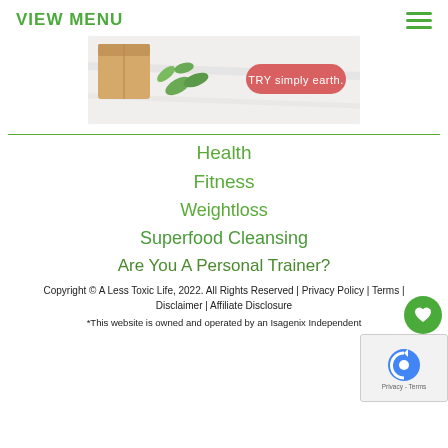VIEW MENU
[Figure (photo): Ad banner for Simply Earth with text 'TRY simply earth.' on a pink/salmon rounded button, showing a cardboard box and green leaves on a marble background.]
Health
Fitness
Weightloss
Superfood Cleansing
Are You A Personal Trainer?
Copyright © A Less Toxic Life, 2022. All Rights Reserved | Privacy Policy | Terms | Disclaimer | Affiliate Disclosure
*This website is owned and operated by an Isagenix Independent